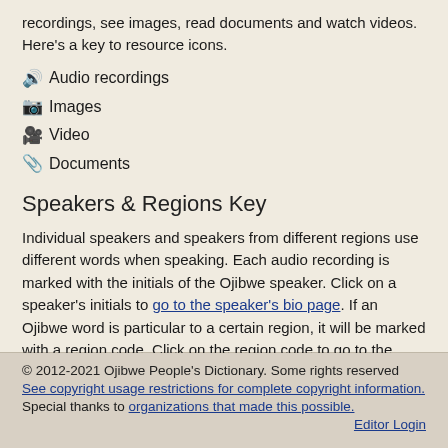recordings, see images, read documents and watch videos. Here's a key to resource icons.
🔊 Audio recordings
📷 Images
🎥 Video
📎 Documents
Speakers & Regions Key
Individual speakers and speakers from different regions use different words when speaking. Each audio recording is marked with the initials of the Ojibwe speaker. Click on a speaker's initials to go to the speaker's bio page. If an Ojibwe word is particular to a certain region, it will be marked with a region code. Click on the region code to go to the Regions page.
© 2012-2021 Ojibwe People's Dictionary. Some rights reserved
See copyright usage restrictions for complete copyright information.
Special thanks to organizations that made this possible.
Editor Login